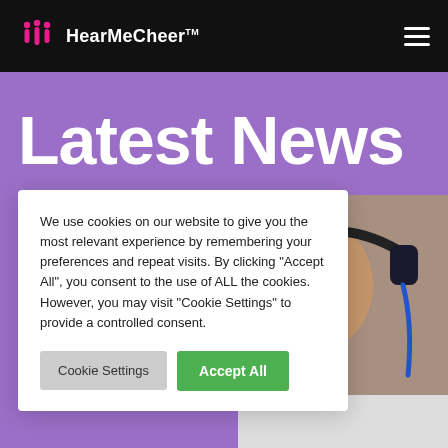HearMeCheer™
Latest News
[Figure (photo): Person wearing headphones, visible on the right side behind the cookie consent modal]
We use cookies on our website to give you the most relevant experience by remembering your preferences and repeat visits. By clicking "Accept All", you consent to the use of ALL the cookies. However, you may visit "Cookie Settings" to provide a controlled consent.
Cookie Settings   Accept All